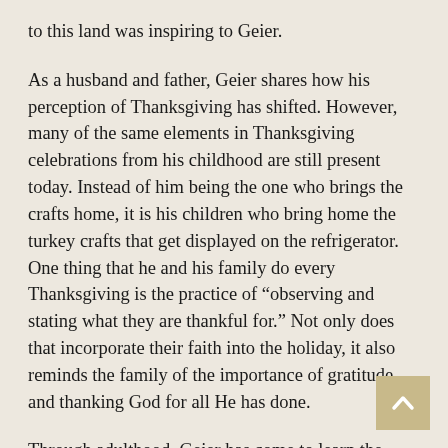to this land was inspiring to Geier.
As a husband and father, Geier shares how his perception of Thanksgiving has shifted. However, many of the same elements in Thanksgiving celebrations from his childhood are still present today. Instead of him being the one who brings the crafts home, it is his children who bring home the turkey crafts that get displayed on the refrigerator. One thing that he and his family do every Thanksgiving is the practice of “observing and stating what they are thankful for.” Not only does that incorporate their faith into the holiday, it also reminds the family of the importance of gratitude and thanking God for all He has done.
Through adulthood, Geier has come to learn the complexity of Thanksgiving. “As a kid, I remember learning that the Native American people were treated unfairly,” he says. He now has come to understand a more complete picture of our country’s complex legacy. Geier continues, “It is more complicated than I ever knew.” He mentions, “Let’s give